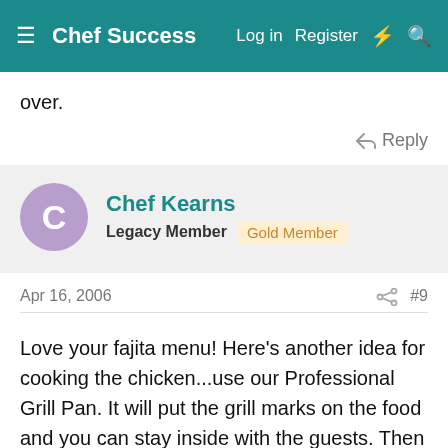Chef Success   Log in   Register
over.
Reply
Chef Kearns
Legacy Member   Gold Member
Apr 16, 2006   #9
Love your fajita menu! Here's another idea for cooking the chicken...use our Professional Grill Pan. It will put the grill marks on the food and you can stay inside with the guests. Then the veggies can go right on the pan and you don't have to worry about slippage.